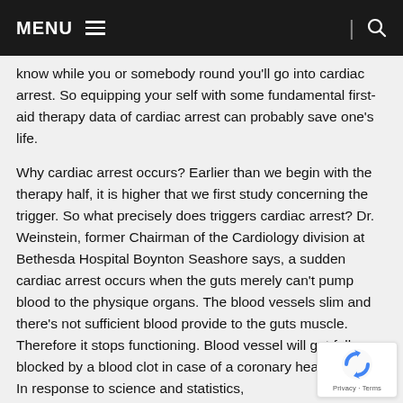MENU ☰  | 🔍
know while you or somebody round you'll go into cardiac arrest. So equipping your self with some fundamental first-aid therapy data of cardiac arrest can probably save one's life.
Why cardiac arrest occurs? Earlier than we begin with the therapy half, it is higher that we first study concerning the trigger. So what precisely does triggers cardiac arrest? Dr. Weinstein, former Chairman of the Cardiology division at Bethesda Hospital Boynton Seashore says, a sudden cardiac arrest occurs when the guts merely can't pump blood to the physique organs. The blood vessels slim and there's not sufficient blood provide to the guts muscle. Therefore it stops functioning. Blood vessel will get fully blocked by a blood clot in case of a coronary heart assault. In response to science and statistics,
[Figure (logo): reCAPTCHA badge with Privacy and Terms links]